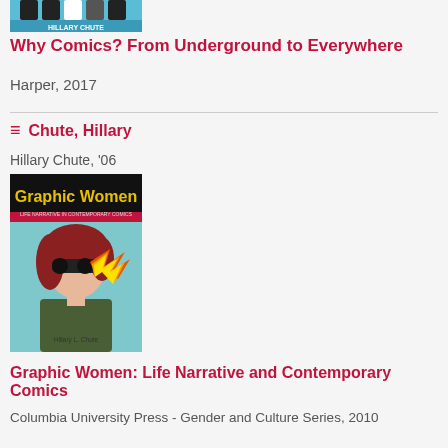[Figure (photo): Book cover of 'Why Comics? From Underground to Everywhere' by Hillary Chute, partially visible at top]
Why Comics? From Underground to Everywhere
Harper, 2017
≡ Chute, Hillary
Hillary Chute, '06
[Figure (photo): Book cover of 'Graphic Women: Life Narrative and Contemporary Comics' by Hillary L. Chute — illustration of a woman with red hair and flame shooting from dark glasses on a teal background]
Graphic Women: Life Narrative and Contemporary Comics
Columbia University Press - Gender and Culture Series, 2010